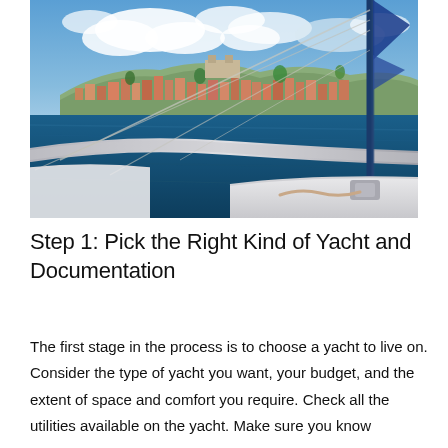[Figure (photo): A sailboat bow and mast in the foreground, with a coastal Mediterranean town in the background under a partly cloudy blue sky, viewed from the deck of the yacht on calm blue water.]
Step 1: Pick the Right Kind of Yacht and Documentation
The first stage in the process is to choose a yacht to live on. Consider the type of yacht you want, your budget, and the extent of space and comfort you require. Check all the utilities available on the yacht. Make sure you know